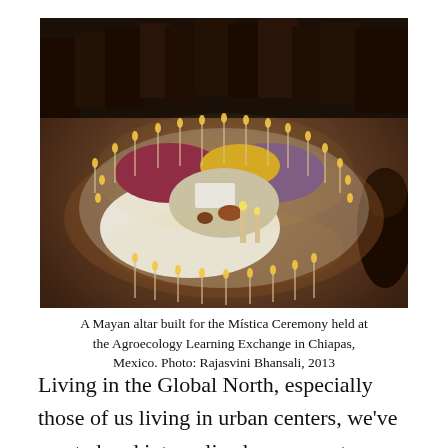[Figure (photo): A Mayan flower altar arranged in a circular mandala pattern with candles surrounding it, people standing around, photographed at an Agroecology Learning Exchange ceremony in Chiapas, Mexico.]
A Mayan altar built for the Mística Ceremony held at the Agroecology Learning Exchange in Chiapas, Mexico. Photo: Rajasvini Bhansali, 2013
Living in the Global North, especially those of us living in urban centers, we've created and internalized our own story that we're not connected to nature. But